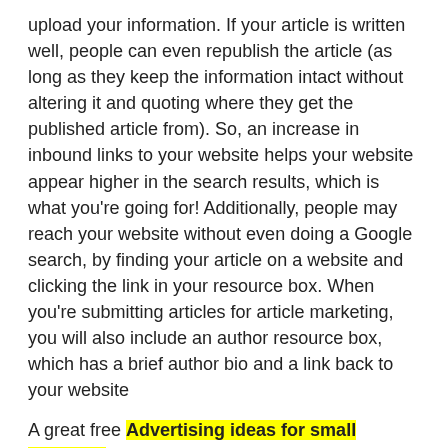upload your information. If your article is written well, people can even republish the article (as long as they keep the information intact without altering it and quoting where they get the published article from). So, an increase in inbound links to your website helps your website appear higher in the search results, which is what you're going for! Additionally, people may reach your website without even doing a Google search, by finding your article on a website and clicking the link in your resource box. When you're submitting articles for article marketing, you will also include an author resource box, which has a brief author bio and a link back to your website
A great free Advertising ideas for small business opportunity you cant miss!. Set up a landing page. There are literally millions of websites and ezines that are begging for good articles
Do not overlook trying a few longer resource boxes;